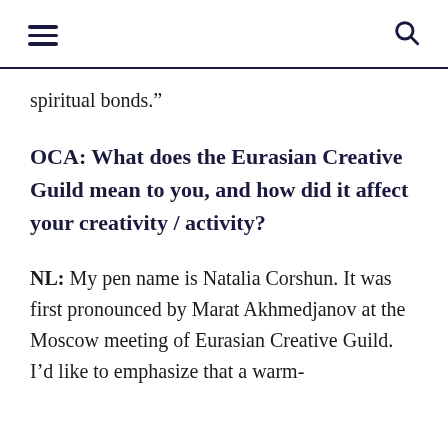[hamburger menu icon] [search icon]
spiritual bonds.”
OCA: What does the Eurasian Creative Guild mean to you, and how did it affect your creativity / activity?
NL: My pen name is Natalia Corshun. It was first pronounced by Marat Akhmedjanov at the Moscow meeting of Eurasian Creative Guild. I’d like to emphasize that a warm-